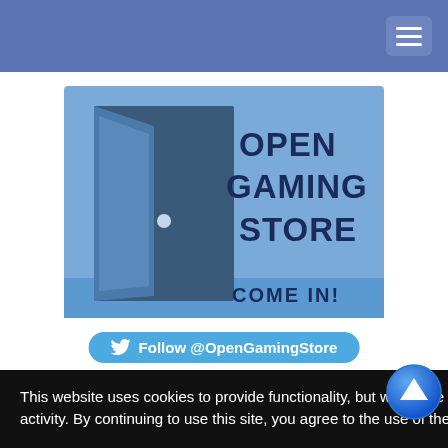[Figure (other): Blue navigation bar with hamburger menu icon in top-right corner]
[Figure (logo): Open Gaming Store logo — blue background with illustrated open door, text reads 'Open Gaming Store Come In!']
[Figure (other): Twitter Follow button: 'Follow @OpenGamingStore' in cyan rounded pill shape]
This website uses cookies to provide functionality, but which are not used to track your activity. By continuing to use this site, you agree to the use of these cookies.

However, in addition to this, you may opt into your activity being tracked in order to help us improve our service.

For more information, please click here
SRD | Dungeon World eSRD | FateCoreSRD | sters | d20 Anime SRD Heroes)
ks on this page.
olicy